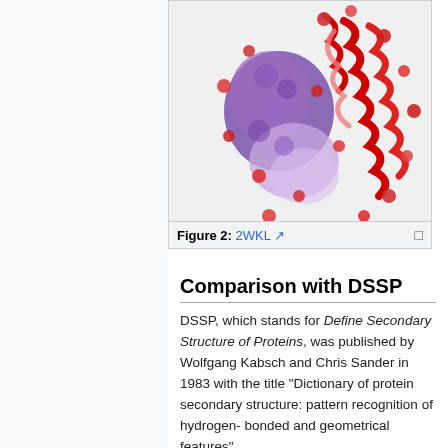[Figure (illustration): 3D protein structure visualization showing purple, light purple, red, and pink ribbon/coil regions with red spherical atoms/residues highlighted throughout, representing crystal structure 2WKL.]
Figure 2: 2WKL
Comparison with DSSP
DSSP, which stands for Define Secondary Structure of Proteins, was published by Wolfgang Kabsch and Chris Sander in 1983 with the title "Dictionary of protein secondary structure: pattern recognition of hydrogen-bonded and geometrical features". <ref>http://swift.cmbi.ru.nl/gv/dssp/</ref>